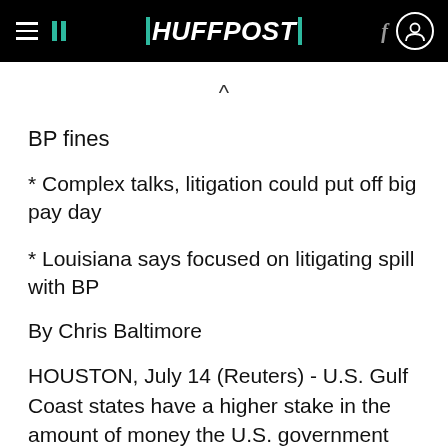HUFFPOST
BP fines
* Complex talks, litigation could put off big pay day
* Louisiana says focused on litigating spill with BP
By Chris Baltimore
HOUSTON, July 14 (Reuters) - U.S. Gulf Coast states have a higher stake in the amount of money the U.S. government can wring out of BP